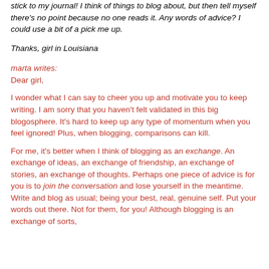stick to my journal! I think of things to blog about, but then tell myself there's no point because no one reads it. Any words of advice? I could use a bit of a pick me up.
Thanks, girl in Louisiana
marta writes:
Dear girl,
I wonder what I can say to cheer you up and motivate you to keep writing. I am sorry that you haven't felt validated in this big blogosphere. It's hard to keep up any type of momentum when you feel ignored! Plus, when blogging, comparisons can kill.
For me, it's better when I think of blogging as an exchange. An exchange of ideas, an exchange of friendship, an exchange of stories, an exchange of thoughts. Perhaps one piece of advice is for you is to join the conversation and lose yourself in the meantime. Write and blog as usual; being your best, real, genuine self. Put your words out there. Not for them, for you! Although blogging is an exchange of sorts,